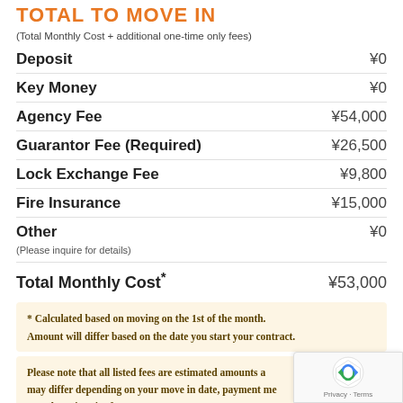TOTAL TO MOVE IN
(Total Monthly Cost + additional one-time only fees)
Deposit ¥0
Key Money ¥0
Agency Fee ¥54,000
Guarantor Fee (Required) ¥26,500
Lock Exchange Fee ¥9,800
Fire Insurance ¥15,000
Other ¥0
(Please inquire for details)
Total Monthly Cost* ¥53,000
* Calculated based on moving on the 1st of the month. Amount will differ based on the date you start your contract.
Please note that all listed fees are estimated amounts and may differ depending on your move in date, payment me... etc. Please inquire for exact costs.